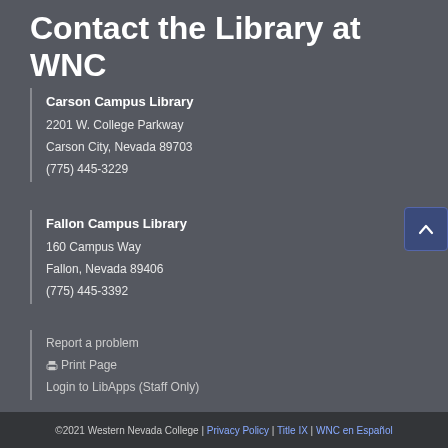Contact the Library at WNC
Carson Campus Library
2201 W. College Parkway
Carson City, Nevada 89703
(775) 445-3229
Fallon Campus Library
160 Campus Way
Fallon, Nevada 89406
(775) 445-3392
Report a problem
Print Page
Login to LibApps (Staff Only)
©2021 Western Nevada College | Privacy Policy | Title IX | WNC en Español